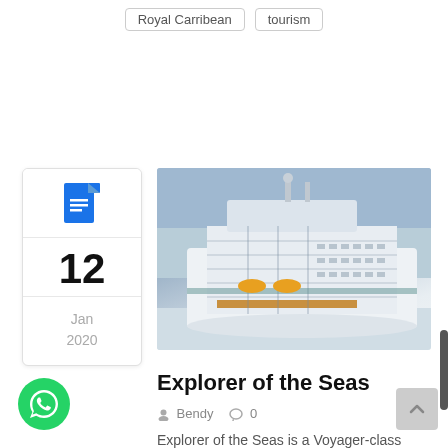Royal Carribean  tourism
[Figure (other): Date card with document icon showing 12 Jan 2020]
[Figure (photo): Cruise ship Explorer of the Seas docked at port]
Explorer of the Seas
Bendy  0
Explorer of the Seas is a Voyager-class cruise ship owned and operated by